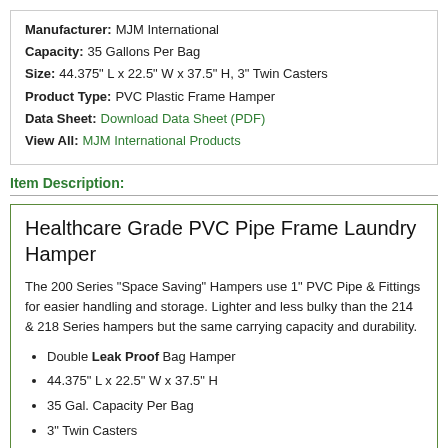| Manufacturer: | MJM International |
| Capacity: | 35 Gallons Per Bag |
| Size: | 44.375" L x 22.5" W x 37.5" H, 3" Twin Casters |
| Product Type: | PVC Plastic Frame Hamper |
| Data Sheet: | Download Data Sheet (PDF) |
| View All: | MJM International Products |
Item Description:
Healthcare Grade PVC Pipe Frame Laundry Hamper
The 200 Series "Space Saving" Hampers use 1" PVC Pipe & Fittings for easier handling and storage. Lighter and less bulky than the 214 & 218 Series hampers but the same carrying capacity and durability.
Double Leak Proof Bag Hamper
44.375" L x 22.5" W x 37.5" H
35 Gal. Capacity Per Bag
3" Twin Casters
Healthcare Grade PVC Pipe & Fittings feature Built-in Stabilizers (or protection) that inhibits the growth of bacteria and fungi.